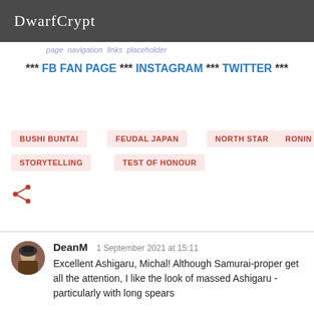DwarfCrypt
... page navigation links ...
*** FB FAN PAGE *** INSTAGRAM *** TWITTER ***
BUSHI BUNTAI
FEUDAL JAPAN
NORTH STAR
RONIN
STORYTELLING
TEST OF HONOUR
[Figure (illustration): Share icon (less-than with two dots forming a share/network icon)]
DeanM  1 September 2021 at 15:11
Excellent Ashigaru, Michal! Although Samurai-proper get all the attention, I like the look of massed Ashigaru - particularly with long spears